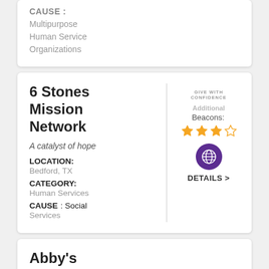CAUSE: Multipurpose Human Service Organizations
6 Stones Mission Network
A catalyst of hope
LOCATION: Bedford, TX
CATEGORY: Human Services
CAUSE: Social Services
Additional Beacons: DETAILS >
Abby's House
The largest provider of affordable